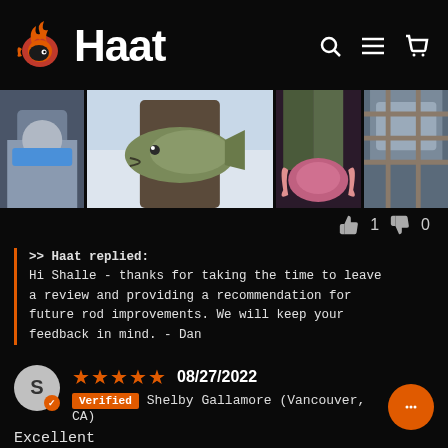Haat
[Figure (photo): Photo strip showing fishing photos: person in jacket, person holding large bass over icy water, person holding fish by tail (dark/pink tones), partial image cut off on right]
👍 1  👎 0
>> Haat replied:
Hi Shalle - thanks for taking the time to leave a review and providing a recommendation for future rod improvements. We will keep your feedback in mind. - Dan
★★★★★  08/27/2022
Verified  Shelby Gallamore (Vancouver, CA)
Excellent